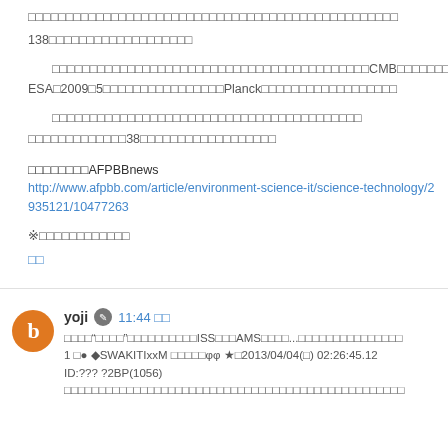□□□□□□□□□□□□□□□□□□□□□□□□□□□□□□□□□□□□□□□□□□□□□□□□□138□□□□□□□□□□□□□□□□□□□
□□□□□□□□□□□□□□□□□□□□□□□□□□□□□□□□□□□□□□□□□CMB□□□□□□□□□□□□□□□□□□□□ESA□2009□5□□□□□□□□□□□□□□□□Planck□□□□□□□□□□□□□□□□□□
□□□□□□□□□□□□□□□□□□□□□□□□□□□□□□□□□□□□□□□□□□□□□□□□□□□□□□□□□38□□□□□□□□□□□□□□□□□□
□□□□□□□□AFPBBnews
http://www.afpbb.com/article/environment-science-it/science-technology/2935121/10477263
※□□□□□□□□□□□□
□□
yoji 11:44 □□
□□□□"□□□□"□□□□□□□□□□ISS□□□AMS□□□□...□□□□□□□□□□□□□□□
1 □● ◆SWAKITIxxM □□□□□φφ ★□2013/04/04(□) 02:26:45.12
ID:??? ?2BP(1056)
□□□□□□□□□□□□□□□□□□□□□□□□□□□□□□□□□□□□□□□□□□□□□□□□□